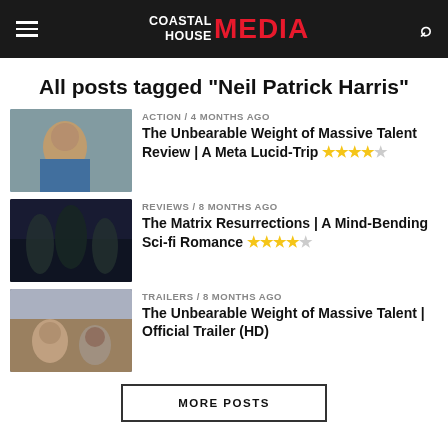COASTAL HOUSE MEDIA
All posts tagged "Neil Patrick Harris"
ACTION / 4 months ago — The Unbearable Weight of Massive Talent Review | A Meta Lucid-Trip ★★★★☆
REVIEWS / 8 months ago — The Matrix Resurrections | A Mind-Bending Sci-fi Romance ★★★★☆
TRAILERS / 8 months ago — The Unbearable Weight of Massive Talent | Official Trailer (HD)
MORE POSTS